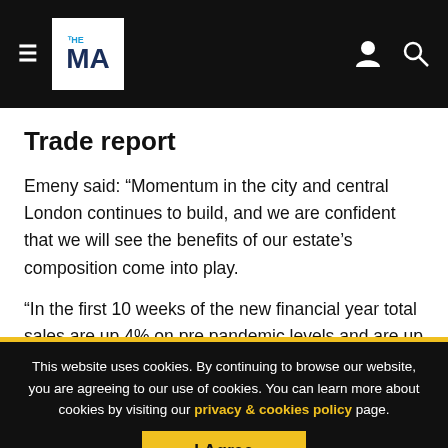THE MA [navigation bar with logo, hamburger menu, person icon, search icon]
Trade report
Emeny said: “Momentum in the city and central London continues to build, and we are confident that we will see the benefits of our estate’s composition come into play.
“In the first 10 weeks of the new financial year total sales are up 4% on pre pandemic levels and are up 130% on the
This website uses cookies. By continuing to browse our website, you are agreeing to our use of cookies. You can learn more about cookies by visiting our privacy & cookies policy page.
I Agree